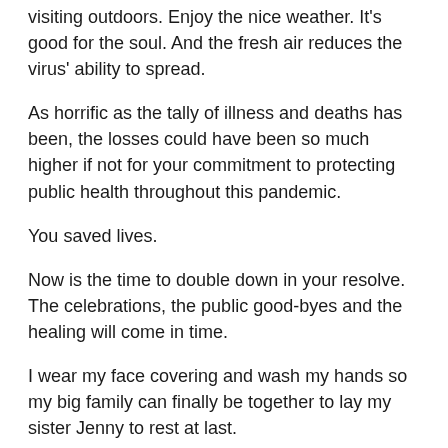visiting outdoors. Enjoy the nice weather. It's good for the soul. And the fresh air reduces the virus' ability to spread.
As horrific as the tally of illness and deaths has been, the losses could have been so much higher if not for your commitment to protecting public health throughout this pandemic.
You saved lives.
Now is the time to double down in your resolve. The celebrations, the public good-byes and the healing will come in time.
I wear my face covering and wash my hands so my big family can finally be together to lay my sister Jenny to rest at last.